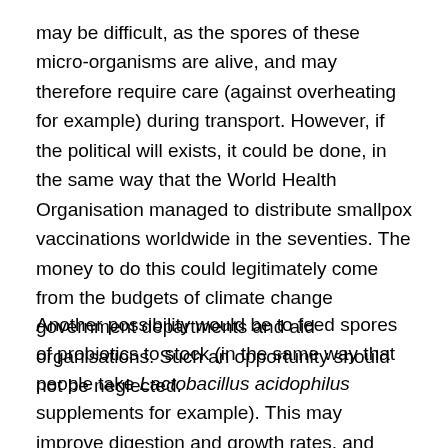may be difficult, as the spores of these micro-organisms are alive, and may therefore require care (against overheating for example) during transport. However, if the political will exists, it could be done, in the same way that the World Health Organisation managed to distribute smallpox vaccinations worldwide in the seventies. The money to do this could legitimately come from the budgets of climate change government departments and aid organisations. Such an opportunity should not be neglected.
Another possibility would be to feed spores of probiotics to stock (in the same way that people take Lactobacillus acidophilus supplements for example). This may improve digestion and growth rates, and some probiotics may also be beneficial in soils (Lactobacillus subtilis and brewer's